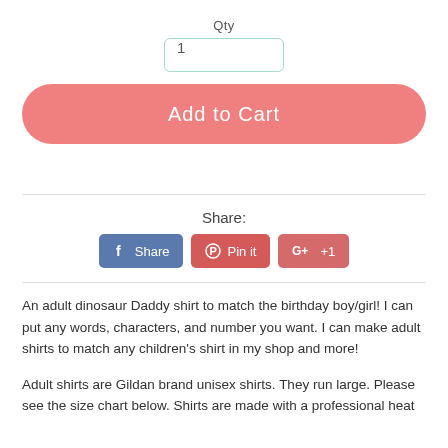Qty
1
Add to Cart
Share:
Share  Pin it  G+ +1
An adult dinosaur Daddy shirt to match the birthday boy/girl!  I can put any words, characters, and number you want. I can make adult shirts to match any children's shirt in my shop and more!
Adult shirts are Gildan brand unisex shirts.  They run large.  Please see the size chart below.  Shirts are made with a professional heat